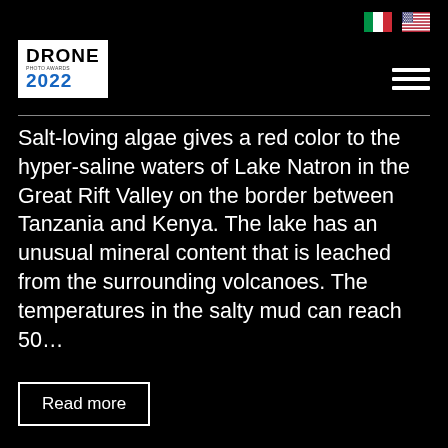Drone Photo Awards 2022
Salt-loving algae gives a red color to the hyper-saline waters of Lake Natron in the Great Rift Valley on the border between Tanzania and Kenya. The lake has an unusual mineral content that is leached from the surrounding volcanoes. The temperatures in the salty mud can reach 50…
Read more